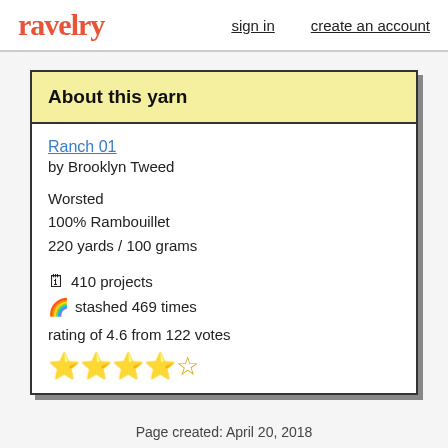ravelry  sign in  create an account
About this yarn
Ranch 01
by Brooklyn Tweed

Worsted
100% Rambouillet
220 yards / 100 grams

410 projects
stashed 469 times
rating of 4.6 from 122 votes
★★★★☆
Page created: April 20, 2018
Last updated: August 6, 2021 …